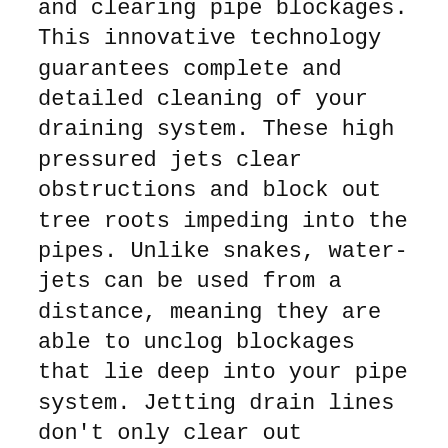and clearing pipe blockages. This innovative technology guarantees complete and detailed cleaning of your draining system. These high pressured jets clear obstructions and block out tree roots impeding into the pipes. Unlike snakes, water-jets can be used from a distance, meaning they are able to unclog blockages that lie deep into your pipe system. Jetting drain lines don't only clear out blockages, they also clean out the entire system, preventing clogs from occurring in the near future.
The water-jets we use are very effective and labor-saving. These compact, portable jet systems perform at a much higher rate than snaking or cable machines. Snaking can only be used at a certain distance, while cable machines simply drill a hole through the blockage, rather than clearing it completely. A high